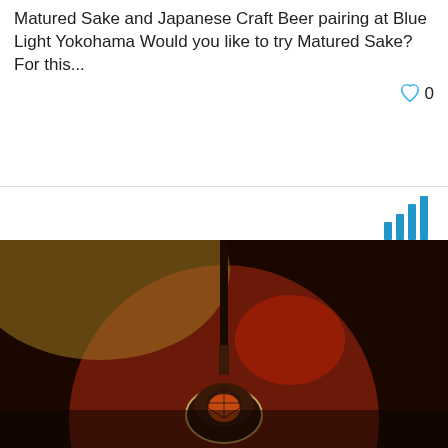Matured Sake and Japanese Craft Beer pairing at Blue Light Yokohama Would you like to try Matured Sake? For this...
0
[Figure (photo): Dark atmospheric photo showing a decorative pendant lamp with diamond pattern design hanging against a large round dark red/brown disk backdrop, with warm golden lighting in the background]